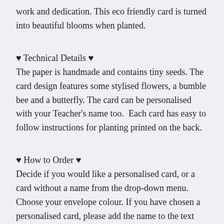work and dedication. This eco friendly card is turned into beautiful blooms when planted.
♥ Technical Details ♥
The paper is handmade and contains tiny seeds. The card design features some stylised flowers, a bumble bee and a butterfly. The card can be personalised with your Teacher's name too. Each card has easy to follow instructions for planting printed on the back.
♥ How to Order ♥
Decide if you would like a personalised card, or a card without a name from the drop-down menu. Choose your envelope colour. If you have chosen a personalised card, please add the name to the text box and